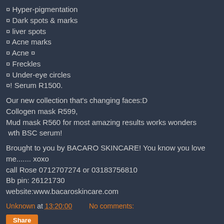¤ Hyper-pigmentation
¤ Dark spots & marks
¤ liver spots
¤ Acne marks
¤ Acne ¤
¤ Freckles
¤ Under-eye circles
¤! Serum R1500.
Our new collection that's changing faces:D
Collogen mask R599,
Mud mask R560 for most amazing results works wonders
 wth BSC serum!
Brought to you by BACARO SKINCARE! You know you love me....... xoxo
call Rose 0712707274 or 0318375681
Bb pin: 26121730
website:www.bacaroskincare.com
Unknown at 13:20:00    No comments: